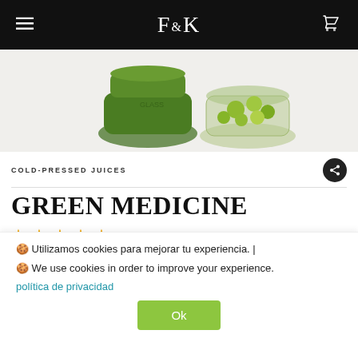F&K
[Figure (photo): Two glass jars with cold-pressed green juices and olives/green produce on white background]
COLD-PRESSED JUICES
GREEN MEDICINE
★★★★★  42 Reviews
Anti-inflammatory  |  Depurative  |  Digestive
🍪 Utilizamos cookies para mejorar tu experiencia. |
🍪 We use cookies in order to improve your experience.
política de privacidad
Ok